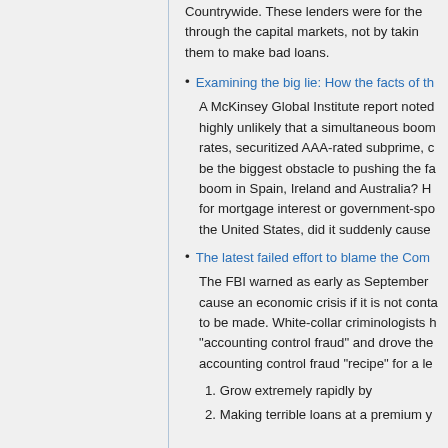Countrywide. These lenders were for the through the capital markets, not by taking them to make bad loans.
Examining the big lie: How the facts of th
A McKinsey Global Institute report noted highly unlikely that a simultaneous boom rates, securitized AAA-rated subprime, c be the biggest obstacle to pushing the fa boom in Spain, Ireland and Australia? H for mortgage interest or government-spo the United States, did it suddenly cause
The latest failed effort to blame the Com
The FBI warned as early as September cause an economic crisis if it is not conta to be made. White-collar criminologists h "accounting control fraud" and drove the accounting control fraud "recipe" for a le
1. Grow extremely rapidly by
2. Making terrible loans at a premium y